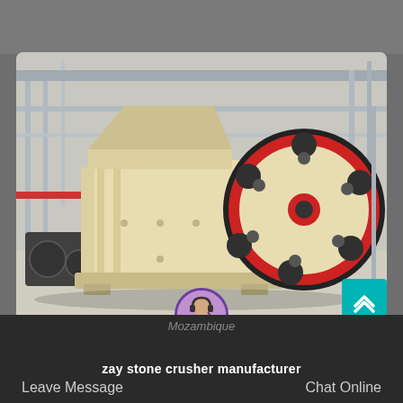[Figure (photo): A large jaw crusher machine with a cream/beige body and a large red and black flywheel on the right side, photographed inside an industrial factory/warehouse facility with steel frame structure visible in the background.]
zay stone crusher manufacturer
Leave Message
Chat Online
Mozambique